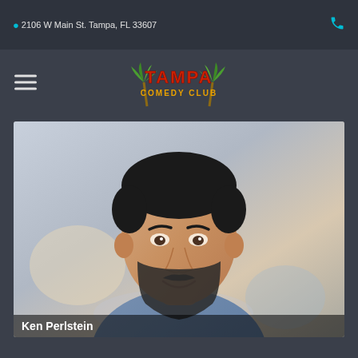2106 W Main St. Tampa, FL 33607
[Figure (logo): Tampa Comedy Club logo with palm trees and red/yellow text]
[Figure (photo): Headshot photo of Ken Perlstein, a man with dark hair and beard wearing a blue shirt, smiling, with blurred background]
Ken Perlstein